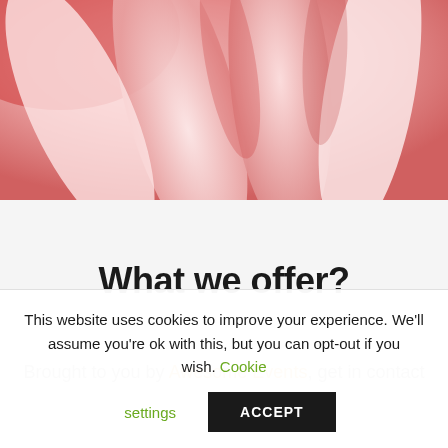[Figure (photo): Close-up photo of fingers/petals with pink and red tones, soft focus macro photography]
What we offer?
Brought to you by Awesome Events, get in contact
This website uses cookies to improve your experience. We'll assume you're ok with this, but you can opt-out if you wish. Cookie settings ACCEPT